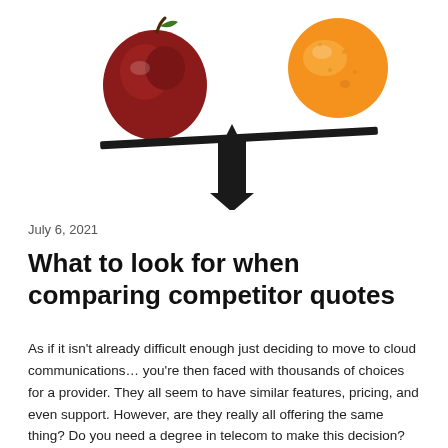[Figure (photo): A balance scale made of a dark plank resting on a dark triangular fulcrum, with a red apple on the left side and an orange on the right side, white background.]
July 6, 2021
What to look for when comparing competitor quotes
As if it isn't already difficult enough just deciding to move to cloud communications… you're then faced with thousands of choices for a provider. They all seem to have similar features, pricing, and even support. However, are they really all offering the same thing? Do you need a degree in telecom to make this decision?